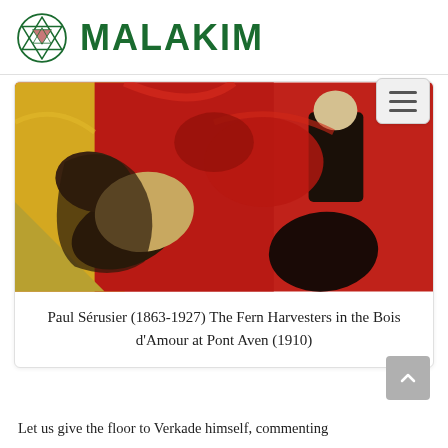[Figure (logo): Malakim logo: circular emblem with geometric Star of David triangle design and pink/mauve downward triangle center, dark green outline, beside bold dark green text MALAKIM]
[Figure (other): Navigation hamburger menu button, three horizontal lines on light gray rounded rectangle]
[Figure (photo): Painting by Paul Sérusier: The Fern Harvesters in the Bois d'Amour at Pont Aven (1910). Bold Post-Impressionist painting with vivid red background, yellow left area, dark figures bending/crouching among ferns.]
Paul Sérusier (1863-1927) The Fern Harvesters in the Bois d'Amour at Pont Aven (1910)
Let us give the floor to Verkade himself, commenting